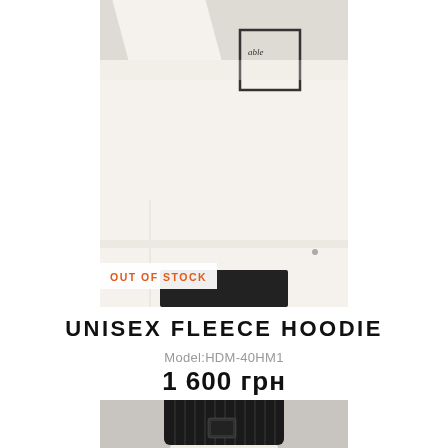[Figure (photo): Model wearing a white/cream unisex fleece hoodie with a square graphic on the chest. The model's arm is raised. Black pants visible at the bottom. White background.]
OUT OF STOCK
UNISEX FLEECE HOODIE
Model:HDM-40HM1
1 600 грн
[Figure (photo): Model wearing a black ribbed beanie hat with a small logo patch. Partial view showing head and shoulders.]